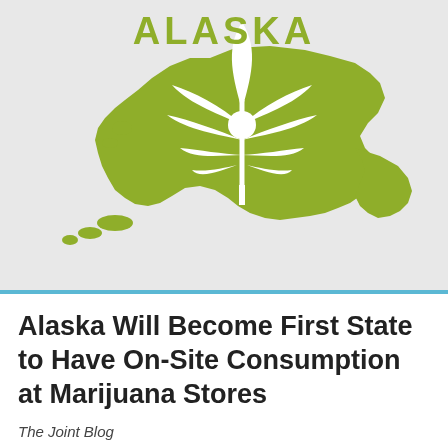[Figure (illustration): Green silhouette of the state of Alaska with a white cannabis leaf cutout overlaid on top, set against a light gray background. The word ALASKA appears in large bold green letters at the top of the image.]
Alaska Will Become First State to Have On-Site Consumption at Marijuana Stores
The Joint Blog
JANUARY 24, 2020